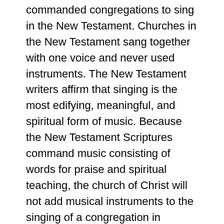commanded congregations to sing in the New Testament. Churches in the New Testament sang together with one voice and never used instruments. The New Testament writers affirm that singing is the most edifying, meaningful, and spiritual form of music. Because the New Testament Scriptures command music consisting of words for praise and spiritual teaching, the church of Christ will not add musical instruments to the singing of a congregation in worship to God (1 Cor 14:9–19).
The words of Jesus compel churches of Christ to maintain the purity of true worship. Neither Christ, his apostles, nor his prophets used or commanded